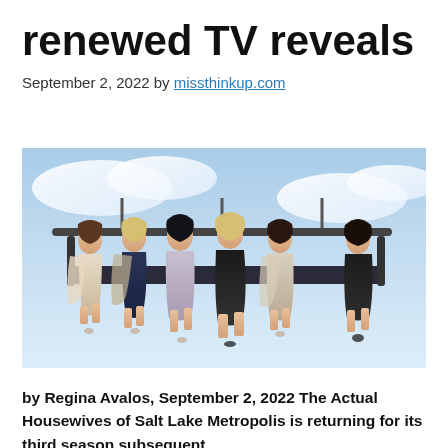renewed TV reveals
September 2, 2022 by missthinkup.com
[Figure (photo): Six women dressed in glamorous outfits seated on what appears to be a ski lift chair against a blue sky background. Promotional photo for The Real Housewives of Salt Lake City.]
by Regina Avalos, September 2, 2022 The Actual Housewives of Salt Lake Metropolis is returning for its third season subsequent